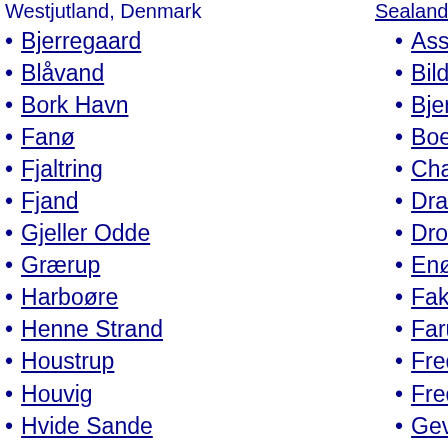Westjutland, Denmark   Sealand, Denmark
Bjerregaard
Blåvand
Bork Havn
Fanø
Fjaltring
Fjand
Gjeller Odde
Grærup
Harboøre
Henne Strand
Houstrup
Houvig
Hvide Sande
Jegum Ferieland
Lemvig
Nissum Fjord - Nørhede
Nr. Nebel
Nymindegab
Ringkoebing Fjord
Struer
Søndervig
Thorning
Asserbo
Bildsø S
Bjerge
Boensv
Charlot
Dragør
Dronning
Enø
Fakse L
Farum
Fredens
Frederik
Gevning
Gillelej
Gudmin
Haralds
Helsing
Holløse
Hornbæ
Humleb
Hundes
Højby L
Høve S
Isefjord